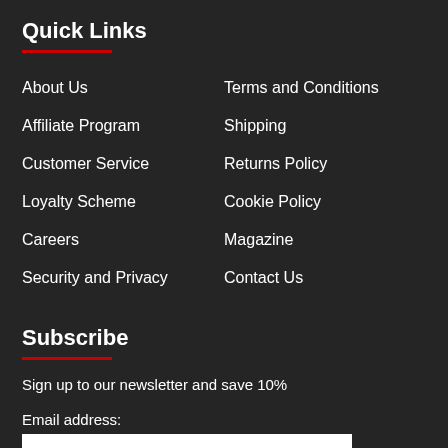Quick Links
About Us
Terms and Conditions
Affiliate Program
Shipping
Customer Service
Returns Policy
Loyalty Scheme
Cookie Policy
Careers
Magazine
Security and Privacy
Contact Us
Subscribe
Sign up to our newsletter and save 10%
Email address: